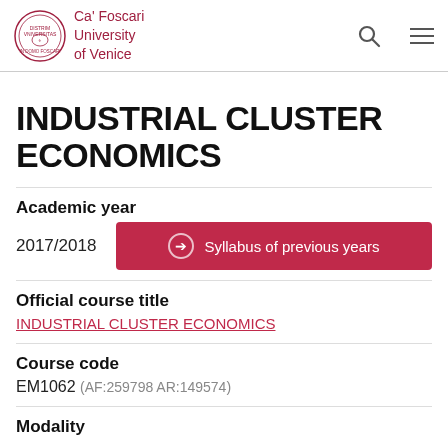Ca' Foscari University of Venice
INDUSTRIAL CLUSTER ECONOMICS
Academic year
2017/2018
Syllabus of previous years
Official course title
INDUSTRIAL CLUSTER ECONOMICS
Course code
EM1062 (AF:259798 AR:149574)
Modality